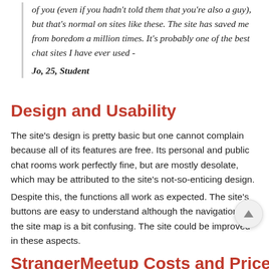of you (even if you hadn't told them that you're also a guy), but that's normal on sites like these. The site has saved me from boredom a million times. It's probably one of the best chat sites I have ever used - Jo, 25, Student
Design and Usability
The site's design is pretty basic but one cannot complain because all of its features are free. Its personal and public chat rooms work perfectly fine, but are mostly desolate, which may be attributed to the site's not-so-enticing design.
Despite this, the functions all work as expected. The site's buttons are easy to understand although the navigation of the site map is a bit confusing. The site could be improved in these aspects.
StrangerMeetup Costs and Prices